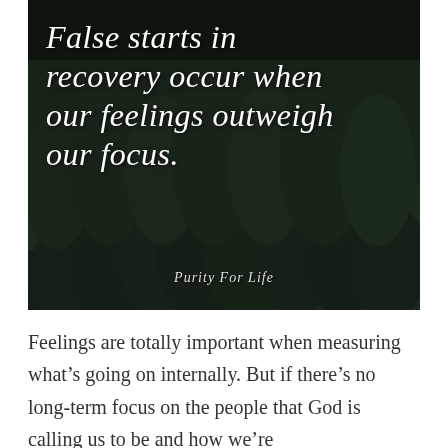[Figure (photo): Black and white aerial photo of a dense forest of evergreen trees with a cursive white quote overlaid: 'False starts in recovery occur when our feelings outweigh our focus.' with attribution 'Purity For Life' at the bottom.]
Feelings are totally important when measuring what’s going on internally. But if there’s no long-term focus on the people that God is calling us to be and how we’re